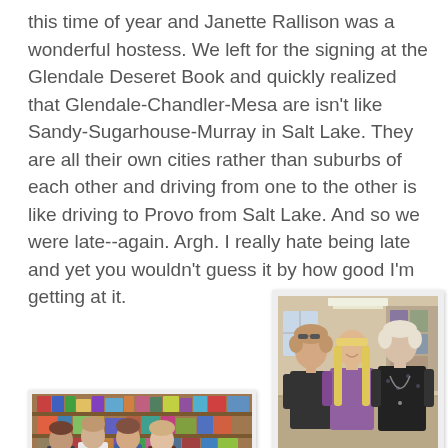this time of year and Janette Rallison was a wonderful hostess. We left for the signing at the Glendale Deseret Book and quickly realized that Glendale-Chandler-Mesa are isn't like Sandy-Sugarhouse-Murray in Salt Lake. They are all their own cities rather than suburbs of each other and driving from one to the other is like driving to Provo from Salt Lake. And so we were late--again. Argh. I really hate being late and yet you wouldn't guess it by how good I'm getting at it.
[Figure (photo): Three women posing together inside what appears to be a bookstore or shop. The interior shows shelves with items. Left woman has short curly hair and wears a dark top. Middle woman has long blonde hair and wears a purple/mauve top. Right woman has short light hair and wears a dark patterned jacket with a long necklace.]
[Figure (photo): Group of people posing inside a bookstore with wooden shelving and books/merchandise displayed behind them. Multiple individuals visible including what appears to be authors at a book signing event.]